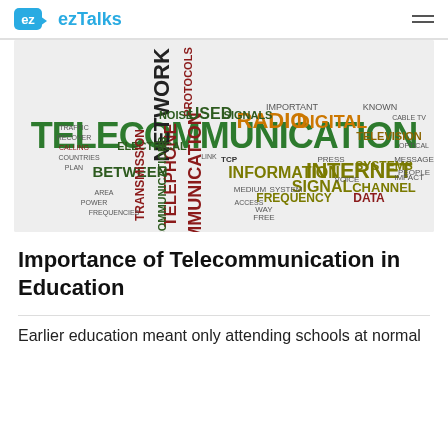ez ezTalks
[Figure (infographic): Word cloud about telecommunication featuring large words: TELECOMMUNICATION (green, largest), COMMUNICATION (dark red, vertical), INTERNET (olive/dark yellow), INFORMATION (olive), TELEPHONE (dark red, vertical), RADIO (orange), DIGITAL (orange), SIGNAL (olive), FREQUENCY (olive), CHANNEL (olive), NETWORK (dark, vertical), BETWEEN (dark green), ELECTRICAL (dark green), TRANSMISSION (dark red, vertical), SYSTEMS (olive), USED (dark green), SIGNALS (dark green), PROTOCOLS (dark red, vertical), and many smaller words in various colors.]
Importance of Telecommunication in Education
Earlier education meant only attending schools at normal